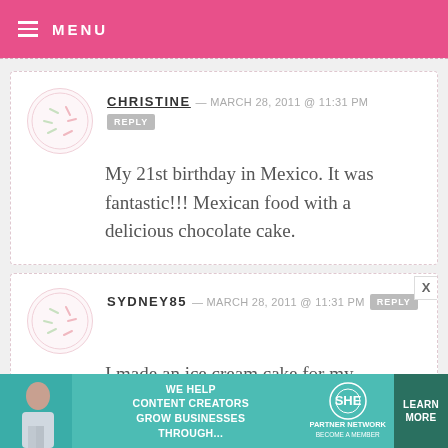MENU
CHRISTINE — MARCH 28, 2011 @ 11:31 PM REPLY
My 21st birthday in Mexico. It was fantastic!!! Mexican food with a delicious chocolate cake.
SYDNEY85 — MARCH 28, 2011 @ 11:31 PM REPLY
I made an ice cream cake for my daughter's birthday. She likes ice
[Figure (infographic): SHE media partner network advertisement banner with text: WE HELP CONTENT CREATORS GROW BUSINESSES THROUGH... LEARN MORE BECOME A MEMBER]